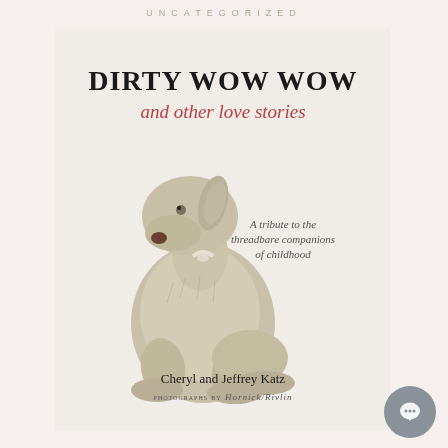UNCATEGORIZED
[Figure (photo): Book cover of 'Dirty Wow Wow and other love stories' by Cheryl and Jeffrey Katz, photography by Hornick/Rivlin. Features a worn, threadbare stuffed animal dog toy on a white background. The cover text reads: 'DIRTY WOW WOW and other love stories', 'A tribute to the threadbare companions of childhood', 'Cheryl and Jeffrey Katz', 'PHOTOGRAPHS BY Hornick/Rivlin']